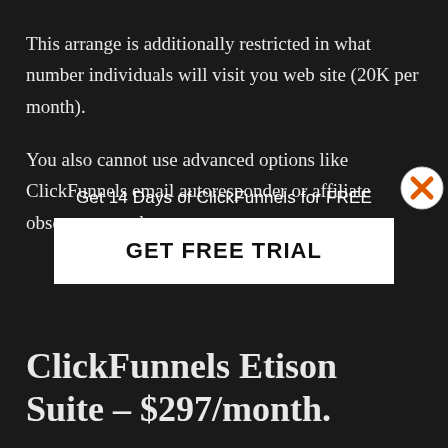This arrange is additionally restricted in what number individuals will visit you web site (20K per month).
You also cannot use advanced options like ClickFunnels email autoresponder or affiliate observance code.
[Figure (other): Popup overlay with text 'Get 14 Days of ClickFunnels for FREE' and a white button labeled 'GET FREE TRIAL', with an orange X close button in the top right corner.]
ClickFunnels Etison Suite – $297/month.